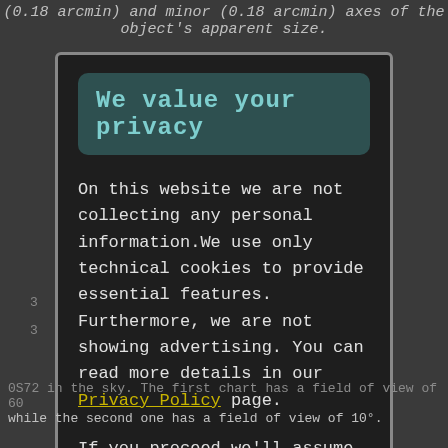(0.18 arcmin) and minor (0.18 arcmin) axes of the object's apparent size.
We value your privacy
On this website we are not collecting any personal information.We use only technical cookies to provide essential features. Furthermore, we are not showing advertising. You can read more details in our Privacy Policy page.
If you proceed we'll assume you agree to receive our cookies. Thank you.
Proceed to TheSkyLive.com
0S72 in the sky. The first chart has a field of view of 60 while the second one has a field of view of 10°.